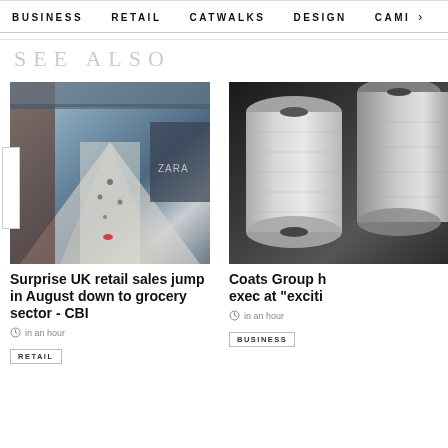BUSINESS   RETAIL   CATWALKS   DESIGN   CAMI >
SEE ALSO
[Figure (photo): Aerial view of a busy shopping mall interior with ZARA store visible]
Surprise UK retail sales jump in August down to grocery sector - CBI
in an hour
RETAIL
[Figure (photo): Close-up of silver/metallic thread spools on dark background]
Coats Group hires new exec at "exciti
in an hour
BUSINESS